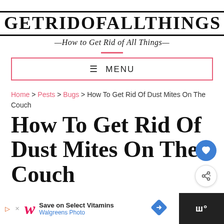GETRIDOFALLTHINGS — How to Get Rid of All Things —
≡ MENU
Home > Pests > Bugs > How To Get Rid Of Dust Mites On The Couch
How To Get Rid Of Dust Mites On The Couch
[Figure (screenshot): Walgreens advertisement banner: Save on Select Vitamins, Walgreens Photo]